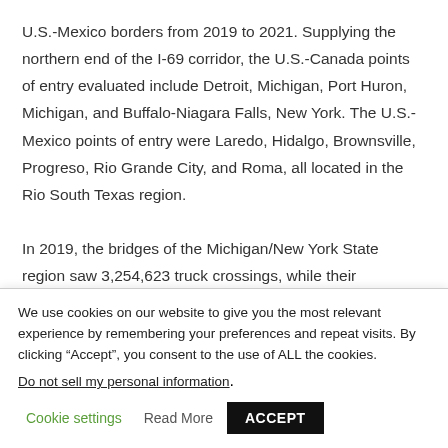U.S.-Mexico borders from 2019 to 2021. Supplying the northern end of the I-69 corridor, the U.S.-Canada points of entry evaluated include Detroit, Michigan, Port Huron, Michigan, and Buffalo-Niagara Falls, New York. The U.S.-Mexico points of entry were Laredo, Hidalgo, Brownsville, Progreso, Rio Grande City, and Roma, all located in the Rio South Texas region.
In 2019, the bridges of the Michigan/New York State region saw 3,254,623 truck crossings, while their counterparts in the
We use cookies on our website to give you the most relevant experience by remembering your preferences and repeat visits. By clicking “Accept”, you consent to the use of ALL the cookies.
Do not sell my personal information.
Cookie settings   Read More   ACCEPT